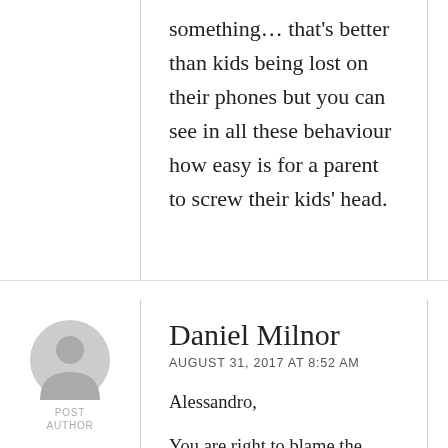something… that's better than kids being lost on their phones but you can see in all these behaviour how easy is for a parent to screw their kids' head.
[Figure (illustration): Grey circular avatar placeholder icon for user Daniel Milnor, with POST AUTHOR label below]
Daniel Milnor
AUGUST 31, 2017 AT 8:52 AM
Alessandro,
You are right to blame the